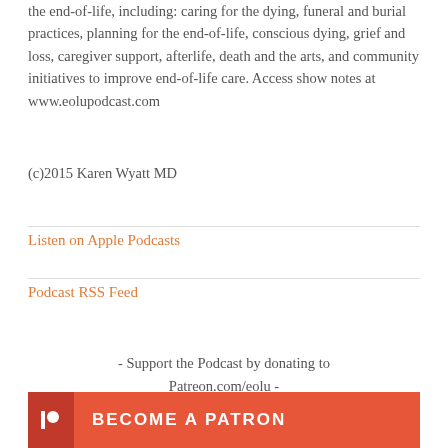the end-of-life, including: caring for the dying, funeral and burial practices, planning for the end-of-life, conscious dying, grief and loss, caregiver support, afterlife, death and the arts, and community initiatives to improve end-of-life care. Access show notes at www.eolupodcast.com
(c)2015 Karen Wyatt MD
Listen on Apple Podcasts
Podcast RSS Feed
- Support the Podcast by donating to Patreon.com/eolu -
[Figure (other): Patreon orange banner with dark sidebar icon and white bold text reading BECOME A PATRON]